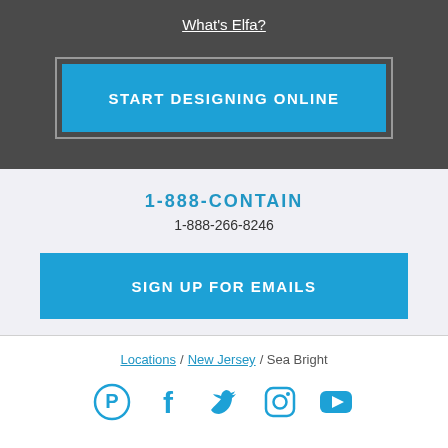What's Elfa?
START DESIGNING ONLINE
1-888-CONTAIN
1-888-266-8246
SIGN UP FOR EMAILS
Locations / New Jersey / Sea Bright
[Figure (infographic): Social media icons: Pinterest, Facebook, Twitter, Instagram, YouTube]